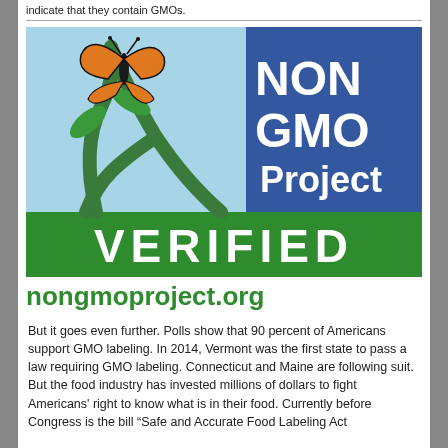indicate that they contain GMOs.
[Figure (logo): Non GMO Project Verified logo with butterfly on green check mark and plant, blue upper-right panel with 'NON GMO Project' text in white, and green bottom banner with 'VERIFIED' in white letters.]
nongmoproject.org
But it goes even further. Polls show that 90 percent of Americans support GMO labeling. In 2014, Vermont was the first state to pass a law requiring GMO labeling. Connecticut and Maine are following suit. But the food industry has invested millions of dollars to fight Americans' right to know what is in their food. Currently before Congress is the bill "Safe and Accurate Food Labeling Act